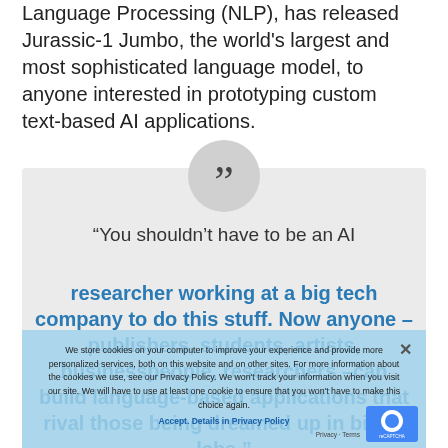Language Processing (NLP), has released Jurassic-1 Jumbo, the world's largest and most sophisticated language model, to anyone interested in prototyping custom text-based AI applications.
[Figure (other): Pull quote box with large quotation mark in a circle above, containing partial quote text: 'You shouldn't have to be an AI researcher working at a big tech company to do this stuff. Now anyone — publishers, students, artists, businesspeople, researchers — can build language-based applications that rival those being dreamed up in big AI labs.' Overlaid by a cookie consent banner.]